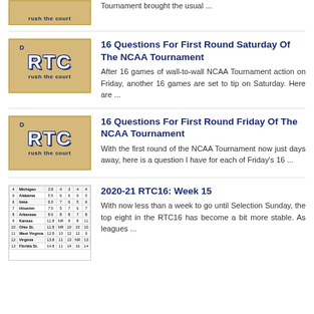[Figure (logo): Rush The Court RTC logo on tan/wood background - partial]
Tournament brought the usual ...
[Figure (logo): Rush The Court RTC logo on tan/wood background]
16 Questions For First Round Saturday Of The NCAA Tournament
After 16 games of wall-to-wall NCAA Tournament action on Friday, another 16 games are set to tip on Saturday. Here are ...
[Figure (logo): Rush The Court RTC logo on tan/wood background]
16 Questions For First Round Friday Of The NCAA Tournament
With the first round of the NCAA Tournament now just days away, here is a question I have for each of Friday's 16 ...
[Figure (table-as-image): Rankings table thumbnail showing teams including Michigan, Alabama, Iowa, Houston, Arkansas, Kansas, Ohio St., West Virginia, Virginia, Florida St.]
2020-21 RTC16: Week 15
With now less than a week to go until Selection Sunday, the top eight in the RTC16 has become a bit more stable. As leagues ...